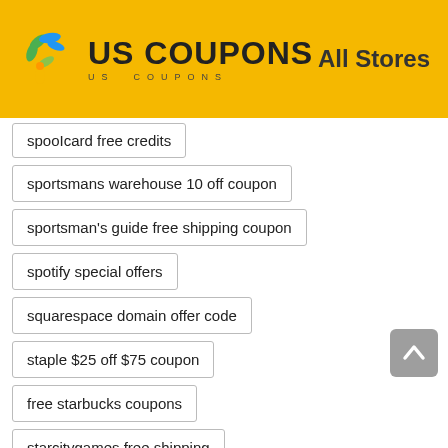US COUPONS — All Stores
spooIcard free credits
sportsmans warehouse 10 off coupon
sportsman's guide free shipping coupon
spotify special offers
squarespace domain offer code
staple $25 off $75 coupon
free starbucks coupons
starcitygames free shipping
starline tours hop on hop off
stash tea free shipping